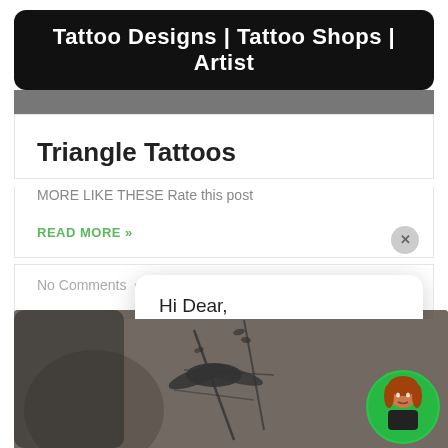Tattoo Designs | Tattoo Shops | Artist
Triangle Tattoos
MORE LIKE THESE Rate this post
READ MORE »
No Comments · June 20, 202
Hi Dear,

This is Sara from JhaiHo!
[Figure (photo): Bottom image showing tattoo art with a bird and branches on skin]